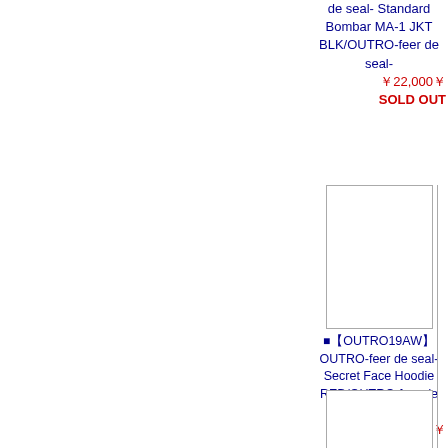de seal- Standard Bombar MA-1 JKT BLK/OUTRO-feer de seal-
￥22,000￥
SOLD OUT
[Figure (photo): Product image placeholder — white rectangle with border, mid-page]
■【OUTRO19AW】OUTRO-feer de seal- Secret Face Hoodie RED/OUTRO-feer de seal-
￥14,300￥
[Figure (photo): Product image placeholder — white rectangle with border, bottom of page]